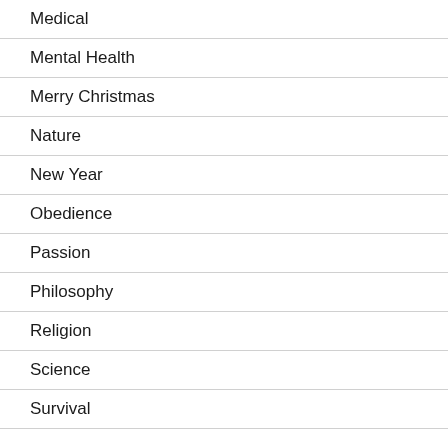Medical
Mental Health
Merry Christmas
Nature
New Year
Obedience
Passion
Philosophy
Religion
Science
Survival